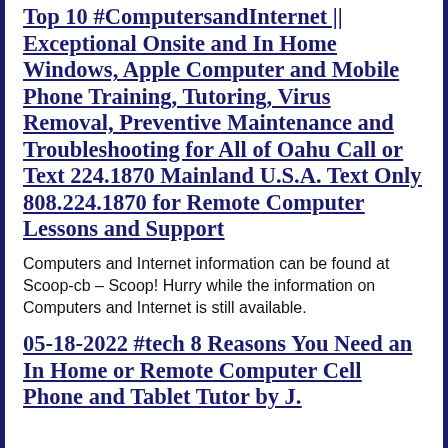Top 10 #ComputersandInternet || Exceptional Onsite and In Home Windows, Apple Computer and Mobile Phone Training, Tutoring, Virus Removal, Preventive Maintenance and Troubleshooting for All of Oahu Call or Text 224.1870 Mainland U.S.A. Text Only 808.224.1870 for Remote Computer Lessons and Support
Computers and Internet information can be found at Scoop-cb – Scoop! Hurry while the information on Computers and Internet is still available.
05-18-2022 #tech 8 Reasons You Need an In Home or Remote Computer Cell Phone and Tablet Tutor by J.